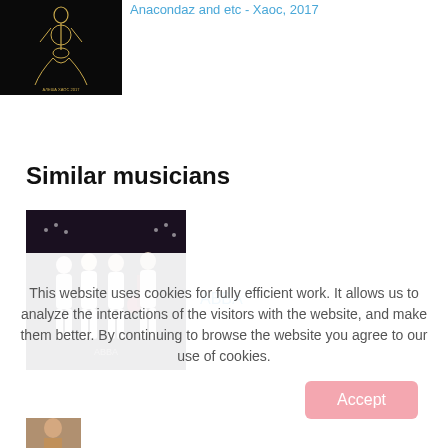[Figure (photo): Album cover art showing a golden skeleton mermaid on black background, Anacondaz - Хаос, 2017]
Anacondaz and etc - Хаос, 2017
Similar musicians
[Figure (photo): Photo of ABBA band members in white outfits on dark stage]
ABBA
This website uses cookies for fully efficient work. It allows us to analyze the interactions of the visitors with the website, and make them better. By continuing to browse the website you agree to our use of cookies.
[Figure (photo): Partial thumbnail of another musician at bottom left]